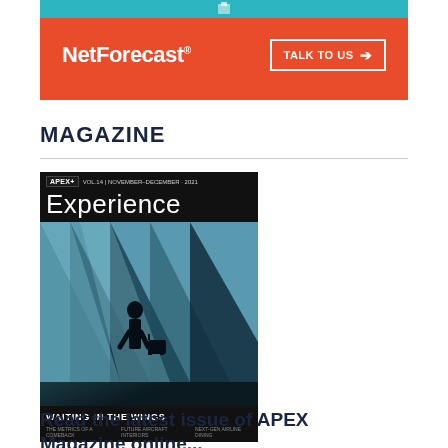[Figure (illustration): NetForecast advertisement banner with red/orange background, teal top strip, NetForecast logo and TALK TO US button]
MAGAZINE
[Figure (photo): APEX Experience magazine cover featuring a silhouetted traveler with luggage in an airport terminal with dramatic light and shadow. Title reads WAITING IN THE WINGS.]
Read the latest issue of APEX Magazine online...